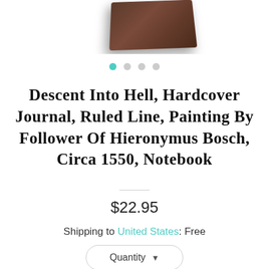[Figure (photo): Partial view of a hardcover journal/notebook with dark brown cover, photographed from above at an angle, partially cut off at top of page]
Descent Into Hell, Hardcover Journal, Ruled Line, Painting By Follower Of Hieronymus Bosch, Circa 1550, Notebook
$22.95
Shipping to United States: Free
Quantity